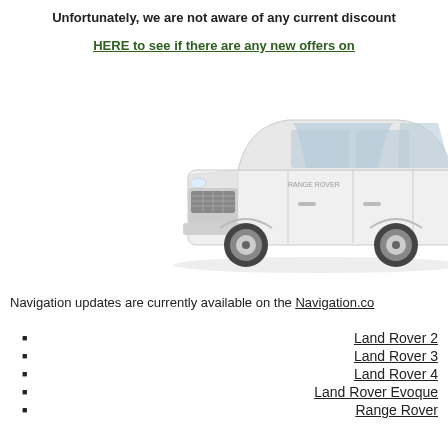Unfortunately, we are not aware of any current discount
HERE to see if there are any new offers on
[Figure (photo): White Range Rover SUV, front three-quarter view on white background]
Navigation updates are currently available on the Navigation.co
Land Rover 2
Land Rover 3
Land Rover 4
Land Rover Evoque
Range Rover